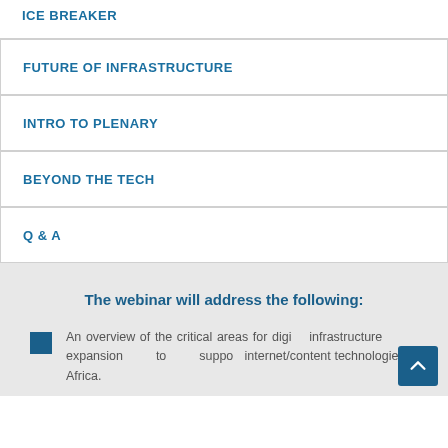ICE BREAKER
FUTURE OF INFRASTRUCTURE
INTRO TO PLENARY
BEYOND THE TECH
Q & A
The webinar will address the following:
An overview of the critical areas for digital infrastructure expansion to support internet/content technologies in Africa.